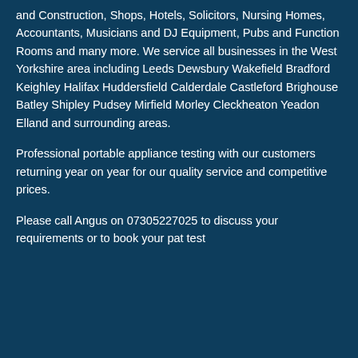and Construction, Shops, Hotels, Solicitors, Nursing Homes, Accountants, Musicians and DJ Equipment, Pubs and Function Rooms and many more. We service all businesses in the West Yorkshire area including Leeds Dewsbury Wakefield Bradford Keighley Halifax Huddersfield Calderdale Castleford Brighouse Batley Shipley Pudsey Mirfield Morley Cleckheaton Yeadon Elland and surrounding areas.
Professional portable appliance testing with our customers returning year on year for our quality service and competitive prices.
Please call Angus on 07305227025 to discuss your requirements or to book your pat test